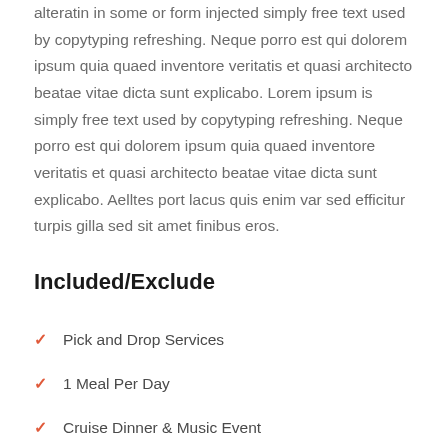alteratin in some or form injected simply free text used by copytyping refreshing. Neque porro est qui dolorem ipsum quia quaed inventore veritatis et quasi architecto beatae vitae dicta sunt explicabo. Lorem ipsum is simply free text used by copytyping refreshing. Neque porro est qui dolorem ipsum quia quaed inventore veritatis et quasi architecto beatae vitae dicta sunt explicabo. Aelltes port lacus quis enim var sed efficitur turpis gilla sed sit amet finibus eros.
Included/Exclude
Pick and Drop Services
1 Meal Per Day
Cruise Dinner & Music Event